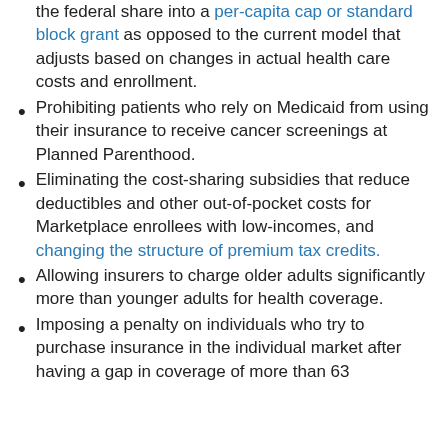the federal share into a per-capita cap or standard block grant as opposed to the current model that adjusts based on changes in actual health care costs and enrollment.
Prohibiting patients who rely on Medicaid from using their insurance to receive cancer screenings at Planned Parenthood.
Eliminating the cost-sharing subsidies that reduce deductibles and other out-of-pocket costs for Marketplace enrollees with low-incomes, and changing the structure of premium tax credits.
Allowing insurers to charge older adults significantly more than younger adults for health coverage.
Imposing a penalty on individuals who try to purchase insurance in the individual market after having a gap in coverage of more than 63